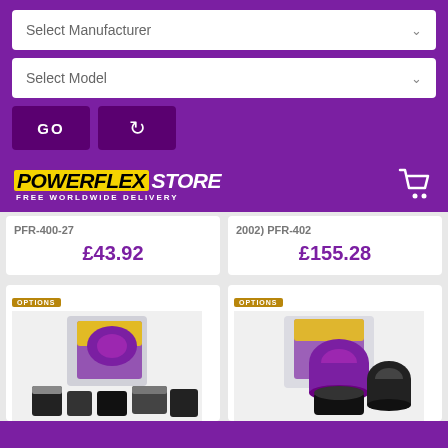Select Manufacturer
Select Model
GO
[Figure (logo): PowerFlex Store logo with FREE WORLDWIDE DELIVERY tagline and shopping cart icon]
PFR-400-27 £43.92
2002) PFR-402 £155.28
[Figure (photo): Powerflex suspension bushes product photo - left card]
[Figure (photo): Powerflex suspension bushes product photo - right card]